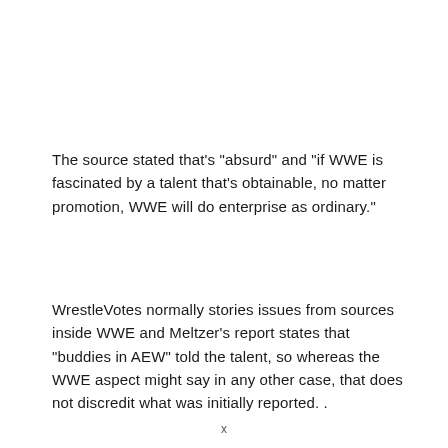The source stated that's "absurd" and "if WWE is fascinated by a talent that's obtainable, no matter promotion, WWE will do enterprise as ordinary."
WrestleVotes normally stories issues from sources inside WWE and Meltzer's report states that "buddies in AEW" told the talent, so whereas the WWE aspect might say in any other case, that does not discredit what was initially reported. .
x